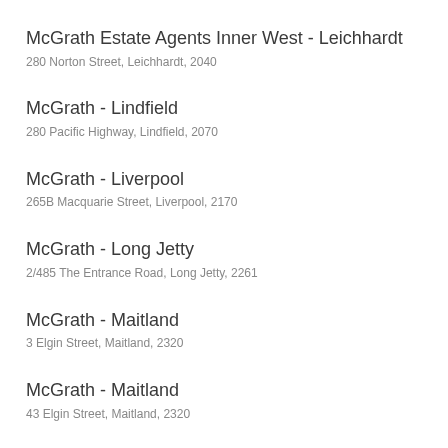McGrath Estate Agents Inner West - Leichhardt
280 Norton Street, Leichhardt, 2040
McGrath - Lindfield
280 Pacific Highway, Lindfield, 2070
McGrath - Liverpool
265B Macquarie Street, Liverpool, 2170
McGrath - Long Jetty
2/485 The Entrance Road, Long Jetty, 2261
McGrath - Maitland
3 Elgin Street, Maitland, 2320
McGrath - Maitland
43 Elgin Street, Maitland, 2320